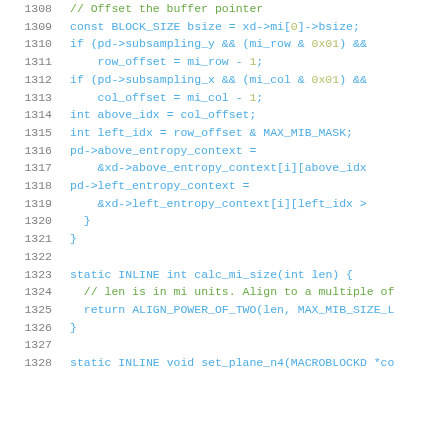Source code listing lines 1308-1328
1308: // Offset the buffer pointer
1309: const BLOCK_SIZE bsize = xd->mi[0]->bsize;
1310: if (pd->subsampling_y && (mi_row & 0x01) &&
1311: row_offset = mi_row - 1;
1312: if (pd->subsampling_x && (mi_col & 0x01) &&
1313: col_offset = mi_col - 1;
1314: int above_idx = col_offset;
1315: int left_idx = row_offset & MAX_MIB_MASK;
1316: pd->above_entropy_context =
1317: &xd->above_entropy_context[i][above_idx
1318: pd->left_entropy_context =
1319: &xd->left_entropy_context[i][left_idx >
1320: }
1321: }
1322: 
1323: static INLINE int calc_mi_size(int len) {
1324: // len is in mi units. Align to a multiple of
1325: return ALIGN_POWER_OF_TWO(len, MAX_MIB_SIZE_L
1326: }
1327: 
1328: static INLINE void set_plane_n4(MACROBLOCKD *co